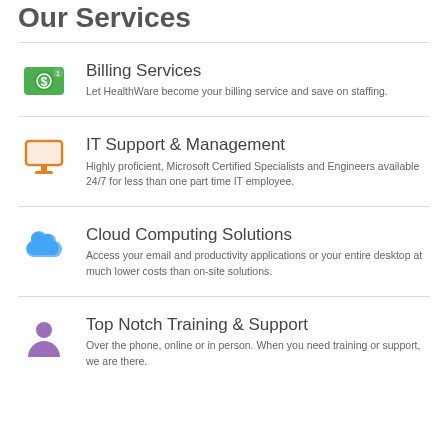Our Services
Billing Services — Let HealthWare become your billing service and save on staffing.
IT Support & Management — Highly proficient, Microsoft Certified Specialists and Engineers available 24/7 for less than one part time IT employee.
Cloud Computing Solutions — Access your email and productivity applications or your entire desktop at much lower costs than on-site solutions.
Top Notch Training & Support — Over the phone, online or in person. When you need training or support, we are there.